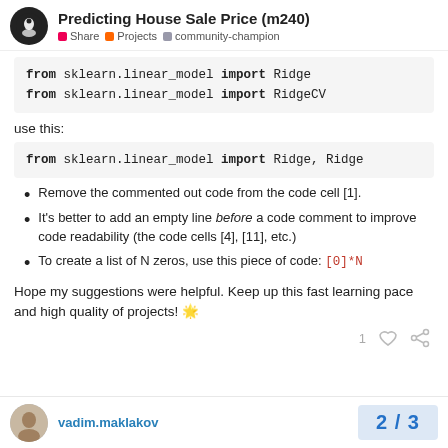Predicting House Sale Price (m240) | Share | Projects | community-champion
from sklearn.linear_model import Ridge
from sklearn.linear_model import RidgeCV
use this:
from sklearn.linear_model import Ridge, Ridge
Remove the commented out code from the code cell [1].
It's better to add an empty line before a code comment to improve code readability (the code cells [4], [11], etc.)
To create a list of N zeros, use this piece of code: [0]*N
Hope my suggestions were helpful. Keep up this fast learning pace and high quality of projects! 🌟
vadim.maklakov | 2 / 3